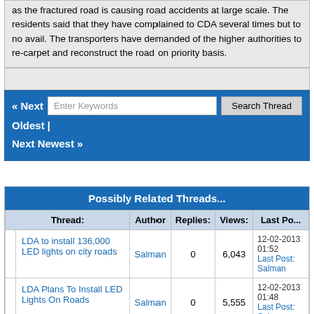as the fractured road is causing road accidents at large scale. The residents said that they have complained to CDA several times but to no avail. The transporters have demanded of the higher authorities to re-carpet and reconstruct the road on priority basis.
« Next Oldest | Next Newest »
| Thread: | Author | Replies: | Views: | Last Po... |
| --- | --- | --- | --- | --- |
| LDA to install 136,000 LED lights on city roads | Salman | 0 | 6,043 | 12-02-2013 01:52 Last Post: Salman |
| LDA Plans To Install LED Lights On Roads | Salman | 0 | 5,555 | 12-02-2013 01:48 Last Post: Salman |